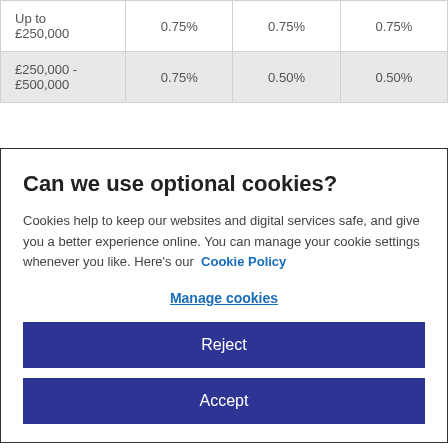|  |  |  |  |
| --- | --- | --- | --- |
| Up to £250,000 | 0.75% | 0.75% | 0.75% |
| £250,000 - £500,000 | 0.75% | 0.50% | 0.50% |
Can we use optional cookies?
Cookies help to keep our websites and digital services safe, and give you a better experience online. You can manage your cookie settings whenever you like. Here's our Cookie Policy
Manage cookies
Reject
Accept